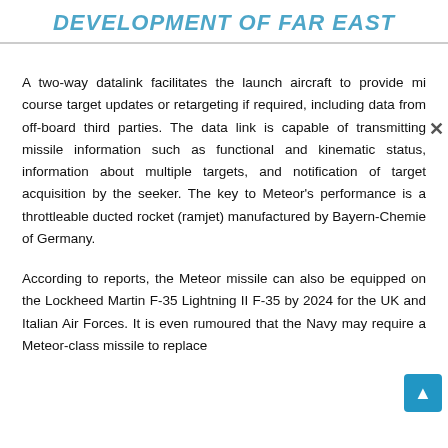DEVELOPMENT OF FAR EAST
A two-way datalink facilitates the launch aircraft to provide mi course target updates or retargeting if required, including data from off-board third parties. The data link is capable of transmitting missile information such as functional and kinematic status, information about multiple targets, and notification of target acquisition by the seeker. The key to Meteor's performance is a throttleable ducted rocket (ramjet) manufactured by Bayern-Chemie of Germany.
According to reports, the Meteor missile can also be equipped on the Lockheed Martin F-35 Lightning II F-35 by 2024 for the UK and Italian Air Forces. It is even rumoured that the Navy may require a Meteor-class missile to replace the